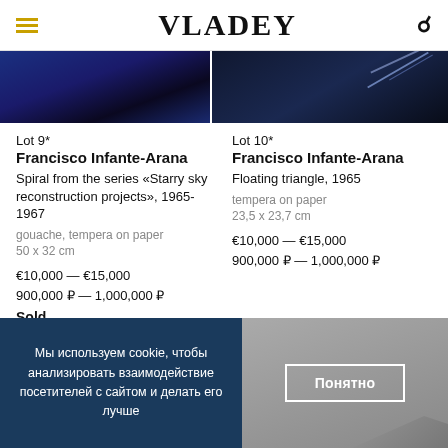VLADEY
[Figure (photo): Two images side by side: left shows abstract blue starry texture, right shows dark blue gradient with light streak]
Lot 9*
Francisco Infante-Arana
Spiral from the series «Starry sky reconstruction projects», 1965-1967
gouache, tempera on paper
50 x 32 cm
€10,000 — €15,000
900,000 ₽ — 1,000,000 ₽
Sold
Lot 10*
Francisco Infante-Arana
Floating triangle, 1965
tempera on paper
23,5 x 23,7 cm
€10,000 — €15,000
900,000 ₽ — 1,000,000 ₽
Мы используем cookie, чтобы анализировать взаимодействие посетителей с сайтом и делать его лучше